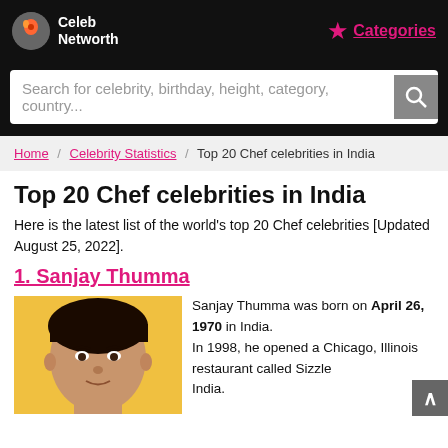Celeb Networth  ★ Categories
Search for celebrity, birthday, height, category, country...
Home / Celebrity Statistics / Top 20 Chef celebrities in India
Top 20 Chef celebrities in India
Here is the latest list of the world's top 20 Chef celebrities [Updated August 25, 2022].
1. Sanjay Thumma
[Figure (photo): Photo of Sanjay Thumma, man with dark hair against yellow background]
Sanjay Thumma was born on April 26, 1970 in India. In 1998, he opened a Chicago, Illinois restaurant called Sizzle India.